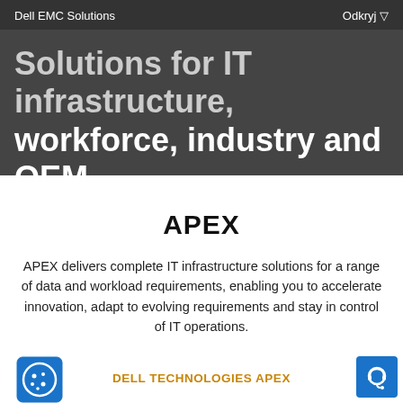Dell EMC Solutions   Odkryj ▽
Solutions for IT infrastructure, workforce, industry and OEM
APEX
APEX delivers complete IT infrastructure solutions for a range of data and workload requirements, enabling you to accelerate innovation, adapt to evolving requirements and stay in control of IT operations.
DELL TECHNOLOGIES APEX
[Figure (logo): Cookie consent icon — blue square with cartoon face]
[Figure (logo): Blue support/headset button]